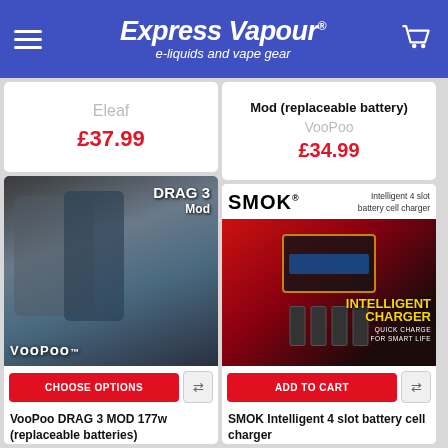Express Vapour | e-liquids and vape gear
Eleaf
£37.99
Mod (replaceable battery)
VooPoo
£34.99
[Figure (photo): VooPoo DRAG 3 Mod product photo showing two DRAG 3 mods side by side with VooPoo logo at bottom]
CHOOSE OPTIONS
[Figure (photo): SMOK Intelligent 4 slot battery cell charger product image with yellow INTELLIGENT CHARGER text on dark red/black background]
ADD TO CART
VooPoo DRAG 3 MOD 177w (replaceable batteries)
SMOK Intelligent 4 slot battery cell charger